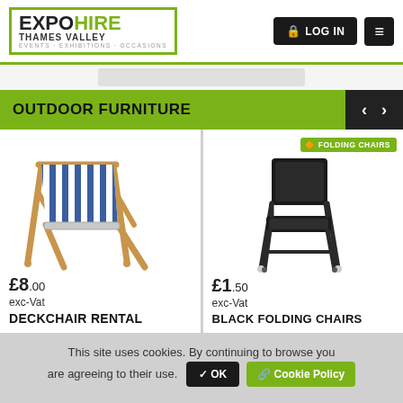EXPO HIRE THAMES VALLEY — Events · Exhibitions · Occasions
OUTDOOR FURNITURE
[Figure (photo): Wooden deckchair with blue and white striped fabric]
£8.00 exc-Vat
DECKCHAIR RENTAL
[Figure (photo): Black metal folding chair]
£1.50 exc-Vat
BLACK FOLDING CHAIRS
This site uses cookies. By continuing to browse you are agreeing to their use.